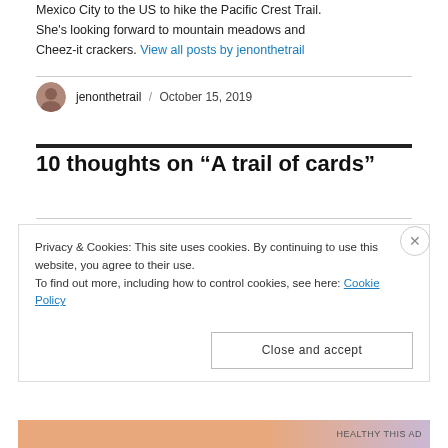Mexico City to the US to hike the Pacific Crest Trail. She's looking forward to mountain meadows and Cheez-it crackers. View all posts by jenonthetrail
jenonthetrail / October 15, 2019
10 thoughts on “A trail of cards”
Privacy & Cookies: This site uses cookies. By continuing to use this website, you agree to their use.
To find out more, including how to control cookies, see here: Cookie Policy